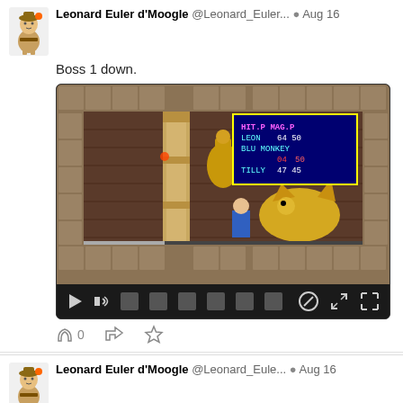Leonard Euler d'Moogle @Leonard_Euler... Aug 16
Boss 1 down.
[Figure (screenshot): Video player showing a retro RPG video game screenshot with a battle scene. The game screen shows a dungeon environment with stone pillars and a golden dragon. A HUD overlay shows: HIT.P MAG.P / LEON 64 50 / BLU MONKEY 04 50 / TILLY 47 45. Below the game screen are video player controls including play button, volume, seek bar, and fullscreen buttons.]
0
Leonard Euler d'Moogle @Leonard_Eule... Aug 16
You know what terrifies me about Sorcerian?  This screen.  These are all the professions you can take and each one has will give you gold and xp, plus stat raises, assuming you meet the job requirements.  This is gaming by spreadsheet.
[Figure (screenshot): Bottom portion of a retro RPG game screenshot showing a menu screen with Japanese text and the word LEON visible, partially cut off at the bottom of the page.]